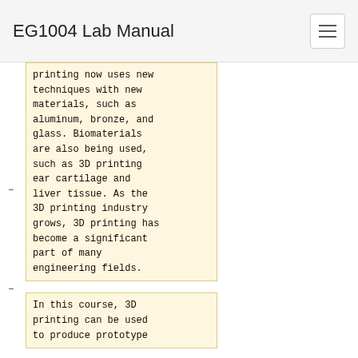EG1004 Lab Manual
printing now uses new techniques with new materials, such as aluminum, bronze, and glass. Biomaterials are also being used, such as 3D printing ear cartilage and liver tissue. As the 3D printing industry grows, 3D printing has become a significant part of many engineering fields.
In this course, 3D printing can be used to produce prototype